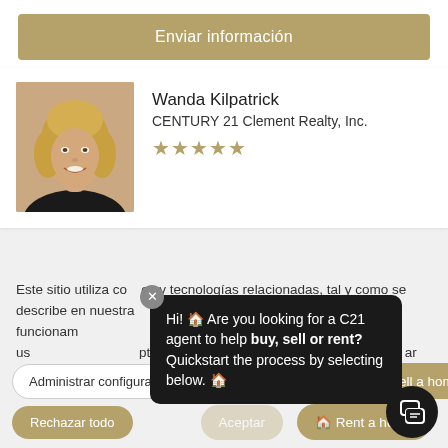Enviar información
[Figure (photo): Professional headshot of Wanda Kilpatrick, a woman with blonde hair, smiling, wearing a black top]
Wanda Kilpatrick
CENTURY 21 Clement Realty, Inc.
★★★★★
Este sitio utiliza cookies y tecnologías relacionadas, tal y como se describe en nuestra política de privacidad, que pueden incluir el funcionamiento básico del sitio, la personalización de la experiencia del usuario, analitica y publicidad. Puede optar por consentir nuestro uso de estas tecnologías, o bien gestionar sus propias preferencias.
Hi! 🏠 Are you looking for a C21 agent to help buy, sell or rent? Quickstart the process by selecting below. 🏠
🏠 Buy a home
🏠 Sell a home
🏠 Rent a home
Administrar configuraciones
Aceptar
Rechazar todo